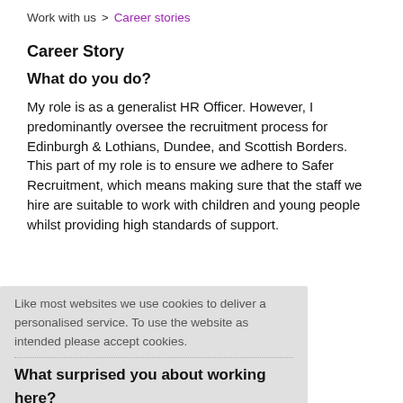Work with us > Career stories
Career Story
What do you do?
My role is as a generalist HR Officer. However, I predominantly oversee the recruitment process for Edinburgh & Lothians, Dundee, and Scottish Borders. This part of my role is to ensure we adhere to Safer Recruitment, which means making sure that the staff we hire are suitable to work with children and young people whilst providing high standards of support.
Like most websites we use cookies to deliver a personalised service. To use the website as intended please accept cookies.
What surprised you about working here?
I was very surprised by the office culture. On my first day in the office, I bumped into the chief executive in the kitchen and we chatted away for 15 minutes. It was